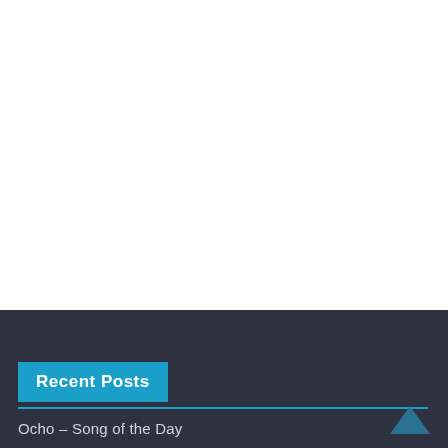Recent Posts
Ocho – Song of the Day